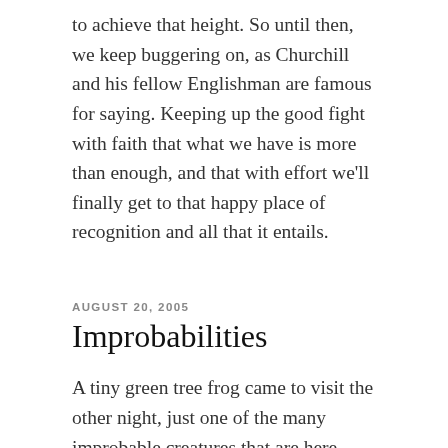to achieve that height. So until then, we keep buggering on, as Churchill and his fellow Englishman are famous for saying. Keeping up the good fight with faith that what we have is more than enough, and that with effort we'll finally get to that happy place of recognition and all that it entails.
AUGUST 20, 2005
Improbabilities
A tiny green tree frog came to visit the other night, just one of the many improbable creatures that are here amongst us that I seem to be focusing on these days. Turning on the light in our bathroom I caught the quick blurred movement of a greenish spot no bigger than a thumbprint. Looking more closely, I spotted a bright green frog clinging to the wall, flattened and in a disk like